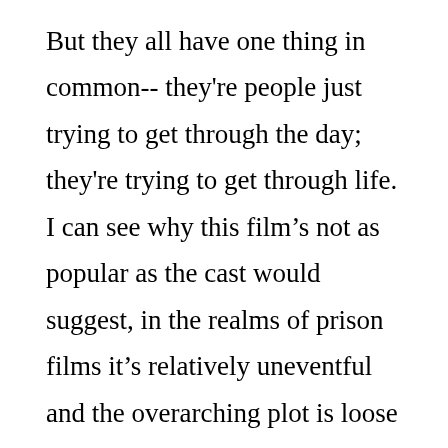But they all have one thing in common-- they're people just trying to get through the day; they're trying to get through life. I can see why this film's not as popular as the cast would suggest, in the realms of prison films it's relatively uneventful and the overarching plot is loose to say the least. There are a number of notable supporting performances in this film, as well, beginning with Mark Boone Junior, who as Mike captures the essence of a guy who is successful, but a loser nonetheless; LaPaglia, who gives a solid